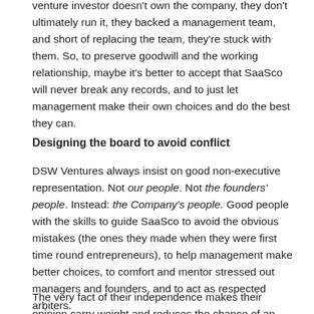venture investor doesn't own the company, they don't ultimately run it, they backed a management team, and short of replacing the team, they're stuck with them. So, to preserve goodwill and the working relationship, maybe it's better to accept that SaaSco will never break any records, and to just let management make their own choices and do the best they can.
Designing the board to avoid conflict
DSW Ventures always insist on good non-executive representation. Not our people. Not the founders' people. Instead: the Company's people. Good people with the skills to guide SaaSco to avoid the obvious mistakes (the ones they made when they were first time round entrepreneurs), to help management make better choices, to comfort and mentor stressed out managers and founders, and to act as respected arbiters.
The very fact of their independence makes their opinion carry weight and reduces the chance of an impasse